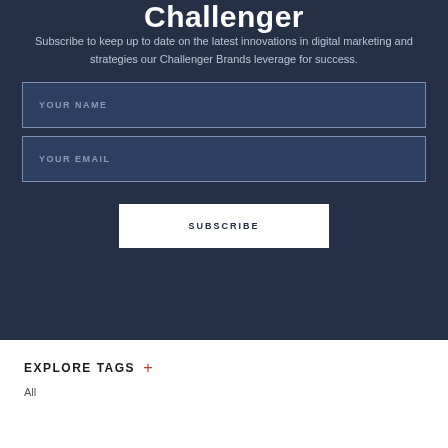Challenger
Subscribe to keep up to date on the latest innovations in digital marketing and strategies our Challenger Brands leverage for success.
YOUR NAME
YOUR EMAIL
SUBSCRIBE
EXPLORE TAGS +
All